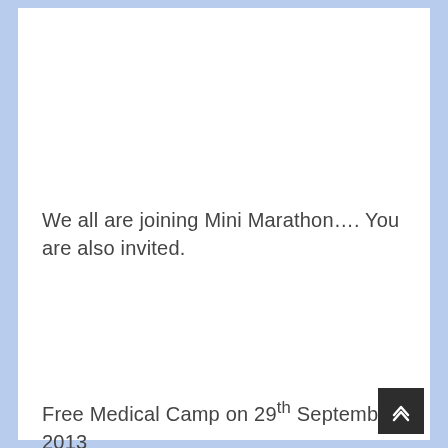We all are joining Mini Marathon…. You are also invited.
Free Medical Camp on 29th September, 2013